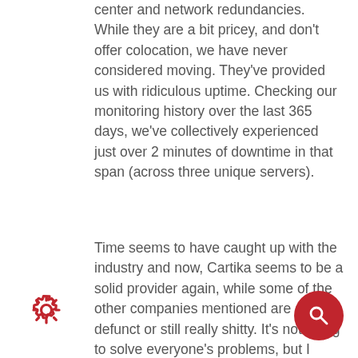center and network redundancies. While they are a bit pricey, and don't offer colocation, we have never considered moving. They've provided us with ridiculous uptime. Checking our monitoring history over the last 365 days, we've collectively experienced just over 2 minutes of downtime in that span (across three unique servers).
Time seems to have caught up with the industry and now, Cartika seems to be a solid provider again, while some of the other companies mentioned are either defunct or still really shitty. It's not going to solve everyone's problems, but I don't ha a problem recommending their services publicly, considering the